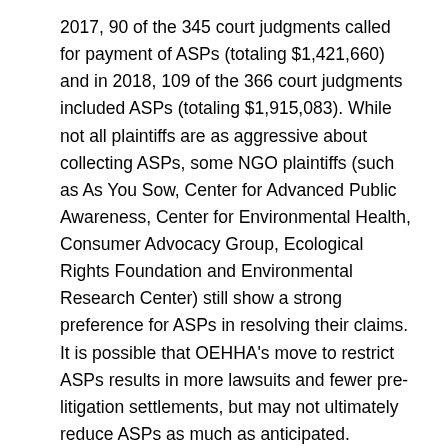2017, 90 of the 345 court judgments called for payment of ASPs (totaling $1,421,660) and in 2018, 109 of the 366 court judgments included ASPs (totaling $1,915,083). While not all plaintiffs are as aggressive about collecting ASPs, some NGO plaintiffs (such as As You Sow, Center for Advanced Public Awareness, Center for Environmental Health, Consumer Advocacy Group, Ecological Rights Foundation and Environmental Research Center) still show a strong preference for ASPs in resolving their claims. It is possible that OEHHA's move to restrict ASPs results in more lawsuits and fewer pre-litigation settlements, but may not ultimately reduce ASPs as much as anticipated.
More problematically, the amendments seem to have had the unintended effect of driving up the civil penalties and attorneys' fees and costs. The amended regulations provide that ASPs should not exceed the 75% share of the civil penalty paid to OEHHA. Previously, ASPs in both private settlements and judgments often exceeded the total civil